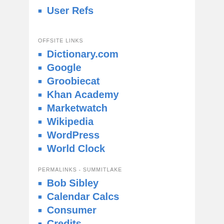User Refs
OFFSITE LINKS
Dictionary.com
Google
Groobiecat
Khan Academy
Marketwatch
Wikipedia
WordPress
World Clock
PERMALINKS - SUMMITLAKE
Bob Sibley
Calendar Calcs
Consumer
Credits
Donate with PayPal
Google Search
History
QUOTES Browser